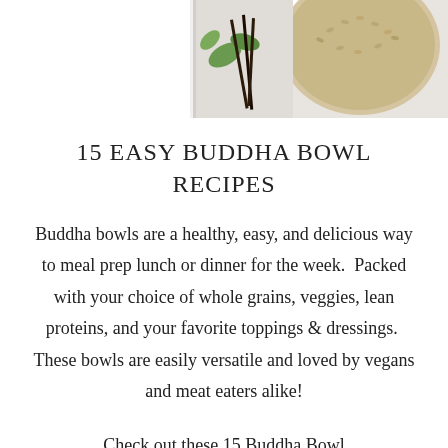[Figure (photo): Top portion of a food photo showing herbs, vanilla beans, a white bowl with grains/seeds, all on a white surface]
15 EASY BUDDHA BOWL RECIPES
Buddha bowls are a healthy, easy, and delicious way to meal prep lunch or dinner for the week.  Packed with your choice of whole grains, veggies, lean proteins, and your favorite toppings & dressings.  These bowls are easily versatile and loved by vegans and meat eaters alike!
Check out these 15 Buddha Bowl recipes that are never boring, and will